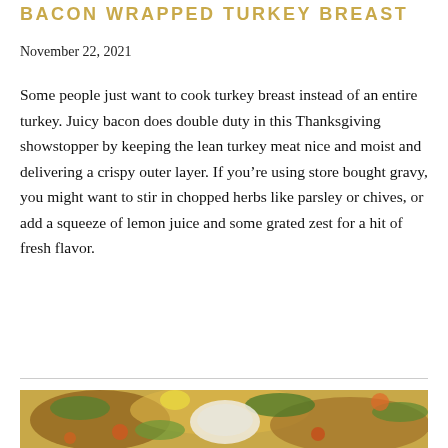BACON WRAPPED TURKEY BREAST
November 22, 2021
Some people just want to cook turkey breast instead of an entire turkey. Juicy bacon does double duty in this Thanksgiving showstopper by keeping the lean turkey meat nice and moist and delivering a crispy outer layer. If you're using store bought gravy, you might want to stir in chopped herbs like parsley or chives, or add a squeeze of lemon juice and some grated zest for a hit of fresh flavor.
[Figure (photo): Food photo showing a Thanksgiving spread with colorful dishes including vegetables and a bowl, partially visible at bottom of page]